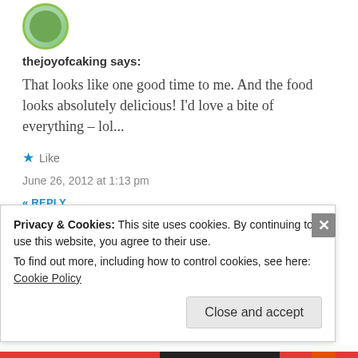[Figure (illustration): Circular avatar image with green border, partial view at top]
thejoyofcaking says:
That looks like one good time to me. And the food looks absolutely delicious! I'd love a bite of everything – lol...
★ Like
June 26, 2012 at 1:13 pm
« REPLY
[Figure (illustration): Circular avatar with green border and blue/dark interior, partial view]
Privacy & Cookies: This site uses cookies. By continuing to use this website, you agree to their use.
To find out more, including how to control cookies, see here:
Cookie Policy
Close and accept